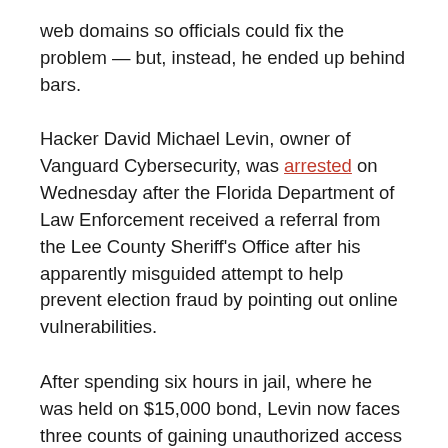web domains so officials could fix the problem — but, instead, he ended up behind bars.
Hacker David Michael Levin, owner of Vanguard Cybersecurity, was arrested on Wednesday after the Florida Department of Law Enforcement received a referral from the Lee County Sheriff's Office after his apparently misguided attempt to help prevent election fraud by pointing out online vulnerabilities.
After spending six hours in jail, where he was held on $15,000 bond, Levin now faces three counts of gaining unauthorized access to a computer, network, or electronic instrument — despite the fact he had not only been doing his job, but also alerted the county to a potentially serious security concern.
To hack the Lee County Elections Office and the Division of Elections in Tallahassee, Levin performed Structured Query